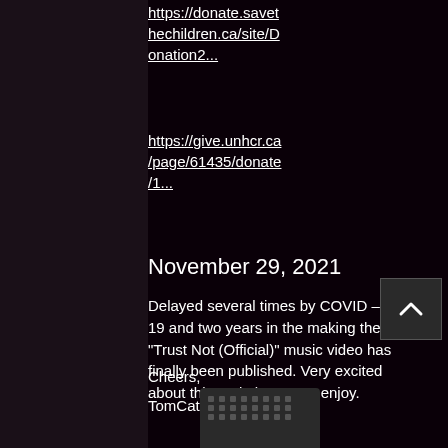https://donate.savethechildren.ca/site/Donation2...
https://give.unhcr.ca/page/61435/donate/1...
November 29, 2021
Delayed several times by COVID – 19 and two years in the making the "Trust Not (Official)" music video has finally been published. Very excited about this and I hope you enjoy.
Cheers,
TomCattt